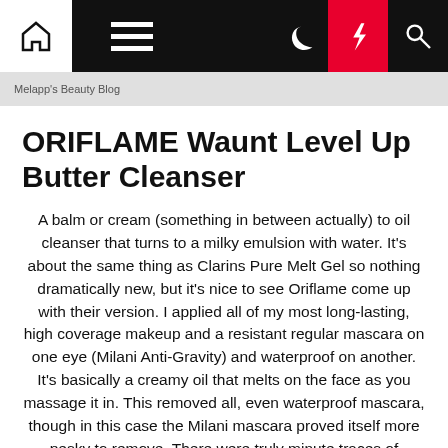Navigation bar with home, menu, moon, lightning, and search icons
Melapp's Beauty Blog
ORIFLAME Waunt Level Up Butter Cleanser
A balm or cream (something in between actually) to oil cleanser that turns to a milky emulsion with water. It's about the same thing as Clarins Pure Melt Gel so nothing dramatically new, but it's nice to see Oriflame come up with their version. I applied all of my most long-lasting, high coverage makeup and a resistant regular mascara on one eye (Milani Anti-Gravity) and waterproof on another. It's basically a creamy oil that melts on the face as you massage it in. This removed all, even waterproof mascara, though in this case the Milani mascara proved itself more pesky to remove. There were truly minute traces of mascara on the cotton pad I used later